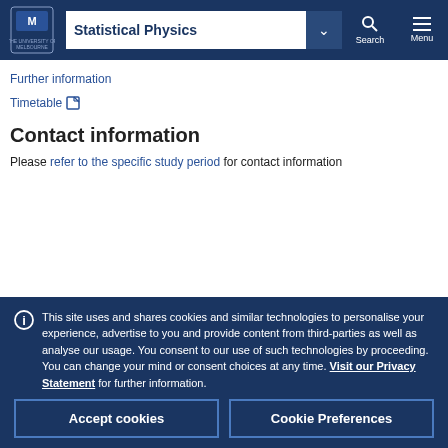Statistical Physics
Further information
Timetable
Contact information
Please refer to the specific study period for contact information
This site uses and shares cookies and similar technologies to personalise your experience, advertise to you and provide content from third-parties as well as analyse our usage. You consent to our use of such technologies by proceeding. You can change your mind or consent choices at any time. Visit our Privacy Statement for further information.
Accept cookies
Cookie Preferences